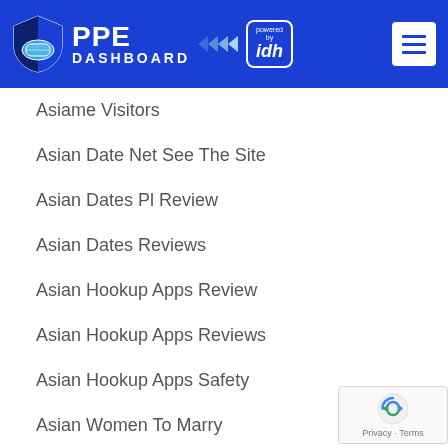[Figure (logo): PPE Dashboard logo with shield icon and 'powered by idh' badge, blue header with hamburger menu]
Asiame Visitors
Asian Date Net See The Site
Asian Dates Pl Review
Asian Dates Reviews
Asian Hookup Apps Review
Asian Hookup Apps Reviews
Asian Hookup Apps Safety
Asian Women To Marry
Asiandato Incontri